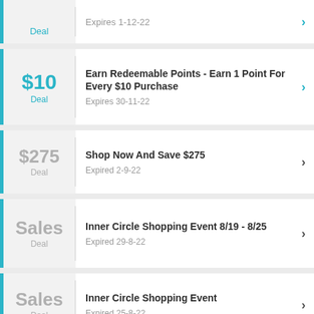Deal | Expires 1-12-22
$10 Deal | Earn Redeemable Points - Earn 1 Point For Every $10 Purchase | Expires 30-11-22
$275 Deal | Shop Now And Save $275 | Expired 2-9-22
Sales Deal | Inner Circle Shopping Event 8/19 - 8/25 | Expired 29-8-22
Sales Deal | Inner Circle Shopping Event | Expired 25-8-22